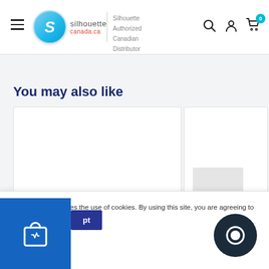Silhouette Canada - Silhouette Authorized Canadian Distributor
You may also like
[Figure (screenshot): Two product card placeholders side by side, white backgrounds with light border, one with a gray thumbnail image placeholder]
This website requires the use of cookies. By using this site, you are agreeing to our Privacy Policy.